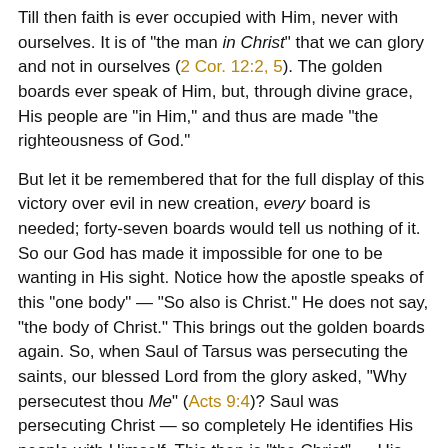Till then faith is ever occupied with Him, never with ourselves. It is of "the man in Christ" that we can glory and not in ourselves (2 Cor. 12:2, 5). The golden boards ever speak of Him, but, through divine grace, His people are "in Him," and thus are made "the righteousness of God."
But let it be remembered that for the full display of this victory over evil in new creation, every board is needed; forty-seven boards would tell us nothing of it. So our God has made it impossible for one to be wanting in His sight. Notice how the apostle speaks of this "one body" — "So also is Christ." He does not say, "the body of Christ." This brings out the golden boards again. So, when Saul of Tarsus was persecuting the saints, our blessed Lord from the glory asked, "Why persecutest thou Me" (Acts 9:4)? Saul was persecuting Christ — so completely He identifies His people with Himself. This then is "the Christ" — His people in Him, and He the Head. This is effected by no human agency, but by the Holy Spirit who baptizes all believers into this one body, this habitation of God.
We can see the Spirit's work in thus uniting believers to Christ and to each other, suggested by the rings and bars, in the unity and fellowship of believers at Pentecost. Saints might be persecuted and imprisoned, but "being let go, they went to their own company (Acts 4:23). "Ye are taught of